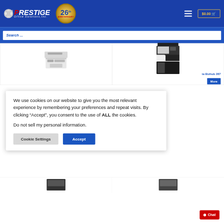Prestige Office Solutions, Inc. — 26th Anniversary — $0.00 cart
Search ...
[Figure (photo): Photo of a Sharp multifunction printer/copier, white color, shown at an angle]
[Figure (photo): Photo of a Konica Minolta Bizhub 287 multifunction printer, black and white, tall floor-standing unit]
Konica Minolta Bizhub 287
Learn More
We use cookies on our website to give you the most relevant experience by remembering your preferences and repeat visits. By clicking “Accept”, you consent to the use of ALL the cookies.

Do not sell my personal information.
Cookie Settings
Accept
[Figure (photo): Partial photo of a multifunction printer at bottom left]
[Figure (photo): Partial photo of a multifunction printer at bottom right]
Chat